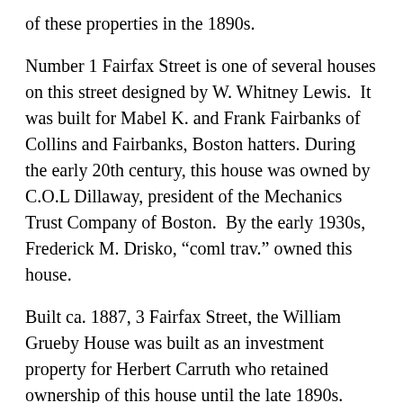of these properties in the 1890s.
Number 1 Fairfax Street is one of several houses on this street designed by W. Whitney Lewis. It was built for Mabel K. and Frank Fairbanks of Collins and Fairbanks, Boston hatters. During the early 20th century, this house was owned by C.O.L Dillaway, president of the Mechanics Trust Company of Boston. By the early 1930s, Frederick M. Drisko, “coml trav.” owned this house.
Built ca. 1887, 3 Fairfax Street, the William Grueby House was built as an investment property for Herbert Carruth who retained ownership of this house until the late 1890s. This house was the residence of William Grueby, a dominant figure in the history of the American Arts and Crafts movement and a